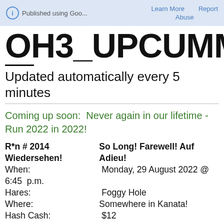Published using Goo...  Learn More  Report  Abuse
OH3_UPCUMMI...
Updated automatically every 5 minutes
Coming up soon:  Never again in our lifetime - Run 2022 in 2022!
R*n # 2014  So Long! Farewell! Auf Wiedersehen! Adieu!
When:  Monday, 29 August 2022 @ 6:45  p.m.
Hares:  Foggy Hole
Where:  Somewhere in Kanata!
Hash Cash:  $12